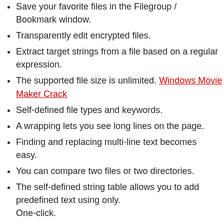Save your favorite files in the Filegroup / Bookmark window.
Transparently edit encrypted files.
Extract target strings from a file based on a regular expression.
The supported file size is unlimited. Windows Movie Maker Crack
Self-defined file types and keywords.
A wrapping lets you see long lines on the page.
Finding and replacing multi-line text becomes easy.
You can compare two files or two directories.
The self-defined string table allows you to add predefined text using only.
One-click.
Find/remove duplicate fonts